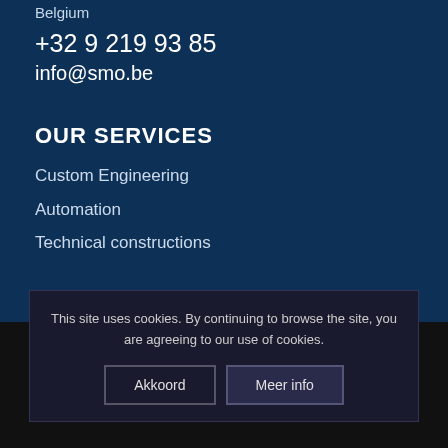Belgium
+32 9 219 93 85
info@smo.be
OUR SERVICES
Custom Engineering
Automation
Technical constructions
This site uses cookies. By continuing to browse the site, you are agreeing to our use of cookies.
QUICK LINKS
About SMO